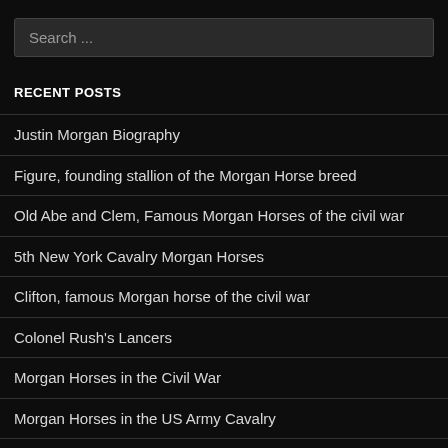Search ...
RECENT POSTS
Justin Morgan Biography
Figure, founding stallion of the Morgan Horse breed
Old Abe and Clem, Famous Morgan Horses of the civil war
5th New York Cavalry Morgan Horses
Clifton, famous Morgan horse of the civil war
Colonel Rush's Lancers
Morgan Horses in the Civil War
Morgan Horses in the US Army Cavalry